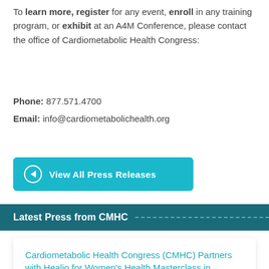To learn more, register for any event, enroll in any training program, or exhibit at an A4M Conference, please contact the office of Cardiometabolic Health Congress:
Phone: 877.571.4700
Email: info@cardiometabolichealth.org
[Figure (other): Teal button labeled 'View All Press Releases' with a left-arrow circle icon]
Latest Press from CMHC
Cardiometabolic Health Congress (CMHC) Partners with Healio for Women's Health Masterclass in September
READ MORE »
Leave a message